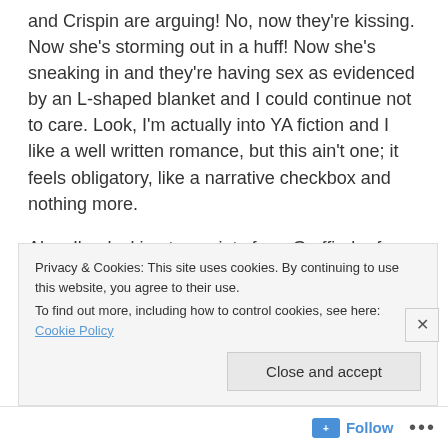and Crispin are arguing! No, now they're kissing. Now she's storming out in a huff! Now she's sneaking in and they're having sex as evidenced by an L-shaped blanket and I could continue not to care. Look, I'm actually into YA fiction and I like a well written romance, but this ain't one; it feels obligatory, like a narrative checkbox and nothing more.
Also, I'm docking ten points from Gryffindor for calling their viral video a "Rick Roll." Really? Hello, /r/FellowKids, we are hip and know your maymays!
So yeah, all around, this one's a flop. A low-budget...
Privacy & Cookies: This site uses cookies. By continuing to use this website, you agree to their use.
To find out more, including how to control cookies, see here: Cookie Policy
Close and accept
Follow ...